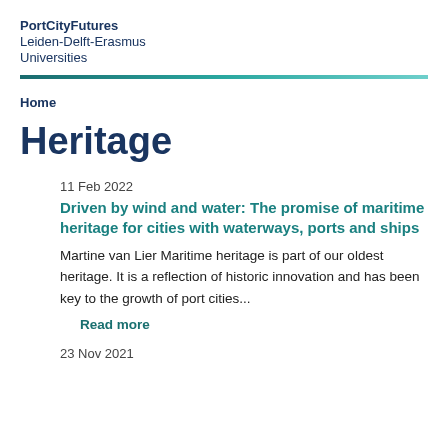PortCityFutures
Leiden-Delft-Erasmus
Universities
Home
Heritage
11 Feb 2022
Driven by wind and water: The promise of maritime heritage for cities with waterways, ports and ships
Martine van Lier Maritime heritage is part of our oldest heritage. It is a reflection of historic innovation and has been key to the growth of port cities...
Read more
23 Nov 2021